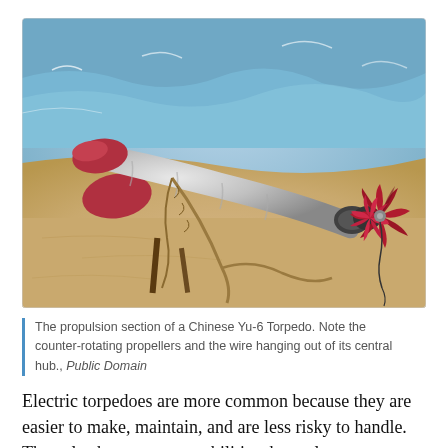[Figure (photo): A Chinese Yu-6 torpedo propulsion section lying on a beach with red counter-rotating propellers visible at the rear, ropes tied around the body, and ocean waves in the background.]
The propulsion section of a Chinese Yu-6 Torpedo. Note the counter-rotating propellers and the wire hanging out of its central hub., Public Domain
Electric torpedoes are more common because they are easier to make, maintain, and are less risky to handle. They also have some capabilities thermal